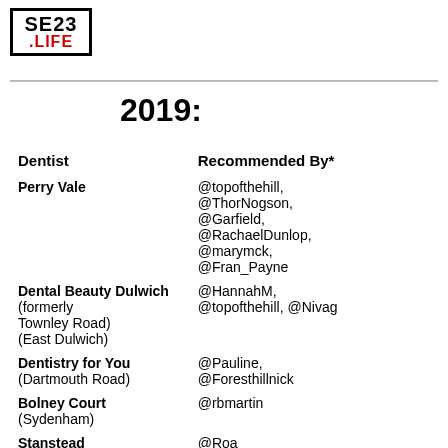SE23 .LIFE
2019:
| Dentist | Recommended By* |
| --- | --- |
| Perry Vale | @topofthehill, @ThorNogson, @Garfield, @RachaelDunlop, @marymck, @Fran_Payne |
| Dental Beauty Dulwich (formerly Townley Road) (East Dulwich) | @HannahM, @topofthehill, @Nivag |
| Dentistry for You (Dartmouth Road) | @Pauline, @Foresthillnick |
| Bolney Court (Sydenham) | @rbmartin |
| Stanstead | @Roa... |